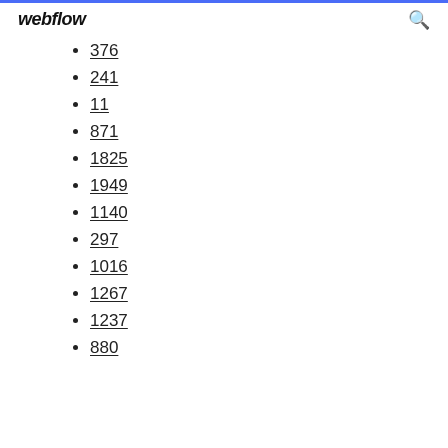webflow
376
241
11
871
1825
1949
1140
297
1016
1267
1237
880